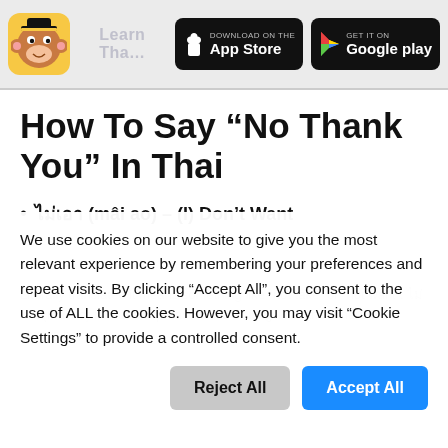Learn Thai | Download on the App Store | GET IT ON Google play
How To Say “No Thank You” In Thai
ไม่เอา (mâi ao) – (I) Don’t Want (Something)
We use cookies on our website to give you the most relevant experience by remembering your preferences and repeat visits. By clicking “Accept All”, you consent to the use of ALL the cookies. However, you may visit “Cookie Settings” to provide a controlled consent.
Literally translated it means something like “not take” or “not want”. ไม่เอา (mâi ao) is a useful phrase while visiting Thailand. There will always be hawk...